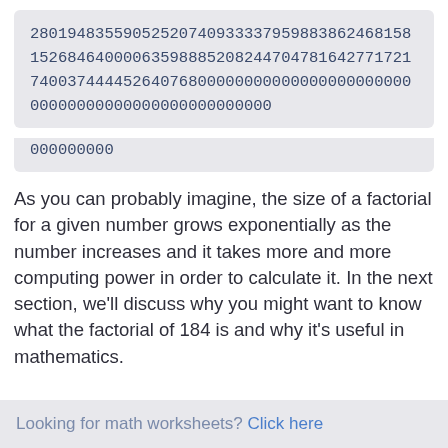2801948355905252074093333795988386
2468158152684640000635988520824470478164277172174003744445264076800
0000000000000000000000000000000000000000000
000000000
As you can probably imagine, the size of a factorial for a given number grows exponentially as the number increases and it takes more and more computing power in order to calculate it. In the next section, we'll discuss why you might want to know what the factorial of 184 is and why it's useful in mathematics.
Looking for math worksheets? Click here